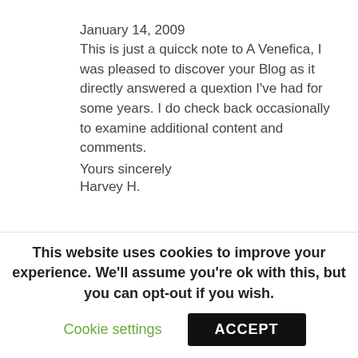January 14, 2009
This is just a quicck note to A Venefica, I was pleased to discover your Blog as it directly answered a quextion I've had for some years. I do check back occasionally to examine additional content and comments.
Yours sincerely
Harvey H.
This website uses cookies to improve your experience. We'll assume you're ok with this, but you can opt-out if you wish.
Cookie settings
ACCEPT